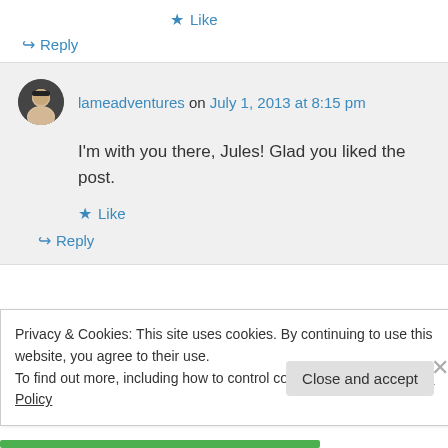★ Like
↪ Reply
lameadventures on July 1, 2013 at 8:15 pm
I'm with you there, Jules! Glad you liked the post.
★ Like
↪ Reply
Privacy & Cookies: This site uses cookies. By continuing to use this website, you agree to their use.
To find out more, including how to control cookies, see here: Cookie Policy
Close and accept